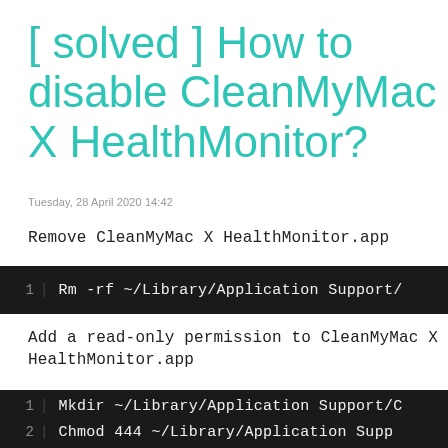[ solved ] How to disable CleanMyMac X HealthMonitor?
Tuesday, 28 April 2020 14:42
Remove CleanMyMac X HealthMonitor.app
[Figure (screenshot): Code block showing: 1 | Rm -rf ~/Library/Application Support/...]
Add a read-only permission to CleanMyMac X HealthMonitor.app
[Figure (screenshot): Code block showing: 1 | Mkdir ~/Library/Application Support/C... 2 | Chmod 444 ~/Library/Application Supp...]